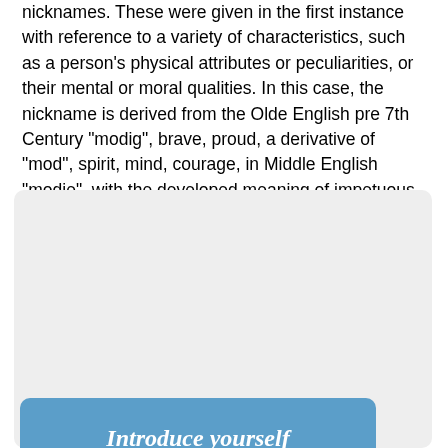nicknames. These were given in the first instance with reference to a variety of characteristics, such as a person's physical attributes or peculiarities, or their mental or moral qualities. In this case, the nickname is derived from the Olde English pre 7th Century "modig", brave, proud, a derivative of "mod", spirit, mind, courage, in Middle English "modie", with the developed meaning of impetuous, haughty, or angry.
[Figure (screenshot): A blue banner with bold italic text 'Introduce yourself', below which is a white card row showing a coat-of-arms logo and the title 'My MOODY Family Story'. A cookie consent overlay with green background shows text 'By using our site we assume you are ok with our cookie policy' and an Ok button. Below is italic text about introducing yourself and finding MOODY ancestor.]